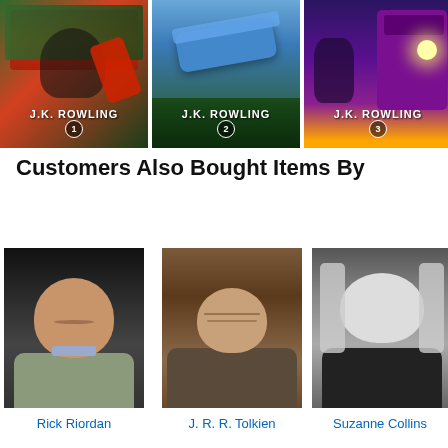[Figure (illustration): Three J.K. Rowling Harry Potter book covers side by side (books 1, 2, 3) with a partial 4th book visible on the right. Each cover shows J.K. ROWLING and a numbered badge.]
Customers Also Bought Items By
[Figure (photo): Author photo of Rick Riordan - smiling man in grey jacket]
Rick Riordan
[Figure (photo): Author photo of J. R. R. Tolkien - elderly man in tweed jacket]
J. R. R. Tolkien
[Figure (photo): Author photo of Suzanne Collins - black and white photo of woman with long hair]
Suzanne Collins
[Figure (photo): Partial author photo (4th author, partially cut off on right edge)]